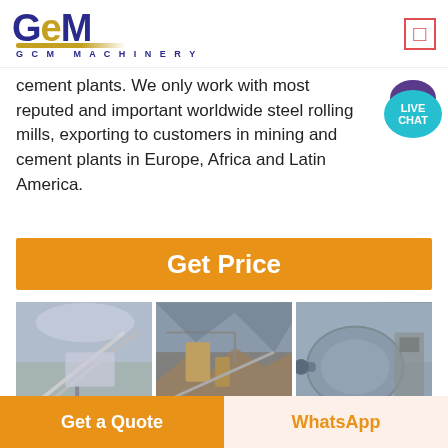[Figure (logo): GCM Machinery logo with blue GCM text, gold underline, and GCM MACHINERY subtitle]
cement plants. We only work with most reputed and important worldwide steel rolling mills, exporting to customers in mining and cement plants in Europe, Africa and Latin America.
[Figure (other): Live Chat speech bubble with teal circle and purple background]
Get Price
[Figure (photo): Three industrial machinery photos showing mining/cement plant equipment with GCM Machinery watermarks]
Grinding Media Inc Profiles
01/02/2017· Grinding Media Inc. AltaSteel Malt: Can Steel
Get a Quote
WhatsApp